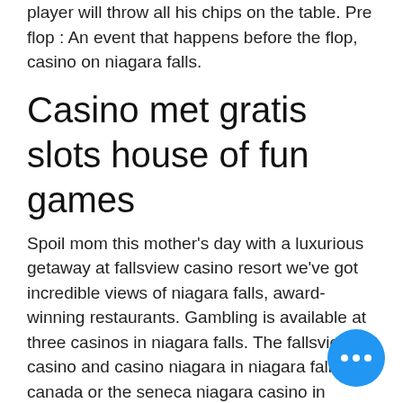player will throw all his chips on the table. Pre flop : An event that happens before the flop, casino on niagara falls.
Casino met gratis slots house of fun games
Spoil mom this mother's day with a luxurious getaway at fallsview casino resort we've got incredible views of niagara falls, award-winning restaurants. Gambling is available at three casinos in niagara falls. The fallsview casino and casino niagara in niagara falls canada or the seneca niagara casino in niagara. Seneca niagara resort &amp; casino is located in downtown niagara falls. It's in a walkable neighborhood that travelers enjoy for top attractions such as the casino. “the avalon theatre” at the fallsview casino resort in niagara falls, ontario. 6380 falls blvd, niagara falls, on l2g 7x5. Niagara falls casino - american roulette - best and top bet!